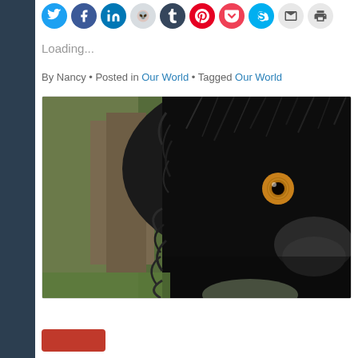[Figure (infographic): Row of social media sharing icon buttons: Twitter (blue bird), Facebook (blue f), LinkedIn (blue in), Reddit (light grey alien), Tumblr (dark blue t), Pinterest (red P), Pocket (red), Skype (blue S), Email (grey envelope), Print (grey printer)]
Loading...
By Nancy • Posted in Our World • Tagged Our World
[Figure (photo): Close-up photograph of a black-furred animal (wolf or dog) showing one amber eye, shot in low depth of field against a blurred green and brown background]
[Figure (other): Partial red button visible at bottom of page]